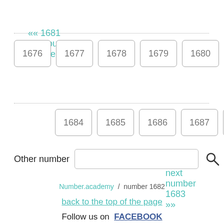«« 1681 previous number
1676
1677
1678
1679
1680
next number 1683 »»
1684
1685
1686
1687
1688
Other number
Number.academy / number 1682
back to the top of the page
Follow us on FACEBOOK